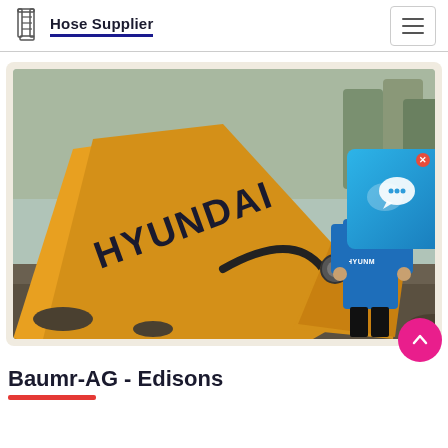Hose Supplier
[Figure (photo): A Hyundai excavator with a worker in a blue Hyundai uniform working on a hydraulic hose on the machine arm, outdoors]
[Figure (screenshot): Chat widget overlay with speech bubble icon on blue gradient background with an X close button]
Baumr-AG - Edisons